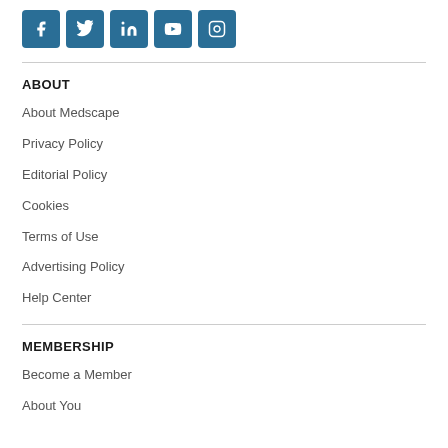[Figure (other): Row of 5 social media icons: Facebook, Twitter, LinkedIn, YouTube, Instagram — all in teal/dark blue square rounded buttons]
ABOUT
About Medscape
Privacy Policy
Editorial Policy
Cookies
Terms of Use
Advertising Policy
Help Center
MEMBERSHIP
Become a Member
About You